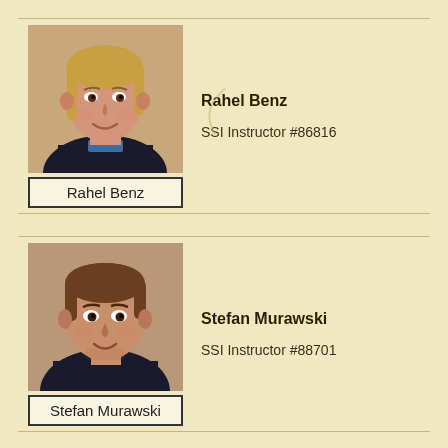[Figure (photo): Headshot photo of Rahel Benz, a young woman with blonde hair wearing a dark jacket, smiling]
Rahel Benz
Rahel Benz
SSI Instructor #86816
[Figure (photo): Headshot photo of Stefan Murawski, a man with brown hair wearing a dark jacket, smiling]
Stefan Murawski
Stefan Murawski
SSI Instructor #88701